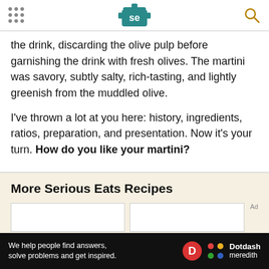Serious Eats (SE logo with navigation dots and search icon)
the drink, discarding the olive pulp before garnishing the drink with fresh olives. The martini was savory, subtly salty, rich-tasting, and lightly greenish from the muddled olive.
I've thrown a lot at you here: history, ingredients, ratios, preparation, and presentation. Now it's your turn. How do you like your martini?
More Serious Eats Recipes